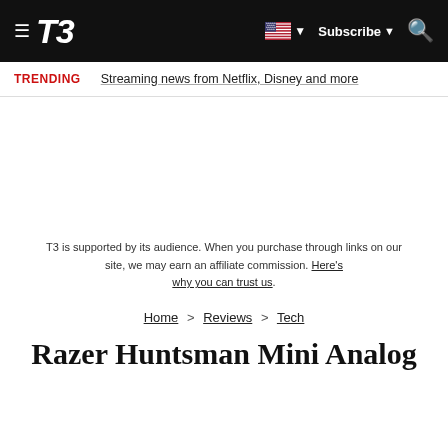T3 | Subscribe | (flag) | Search
TRENDING   Streaming news from Netflix, Disney and more
[Figure (other): Advertisement placeholder area]
T3 is supported by its audience. When you purchase through links on our site, we may earn an affiliate commission. Here's why you can trust us.
Home > Reviews > Tech
Razer Huntsman Mini Analog